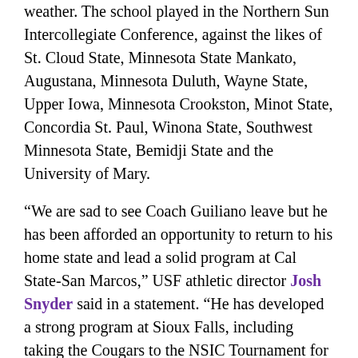weather. The school played in the Northern Sun Intercollegiate Conference, against the likes of St. Cloud State, Minnesota State Mankato, Augustana, Minnesota Duluth, Wayne State, Upper Iowa, Minnesota Crookston, Minot State, Concordia St. Paul, Winona State, Southwest Minnesota State, Bemidji State and the University of Mary.
“We are sad to see Coach Guiliano leave but he has been afforded an opportunity to return to his home state and lead a solid program at Cal State-San Marcos,” USF athletic director Josh Snyder said in a statement. “He has developed a strong program at Sioux Falls, including taking the Cougars to the NSIC Tournament for the first time this spring while setting a mark for most wins by a USF baseball team since the move into the NSIC. He has developed a junior varsity